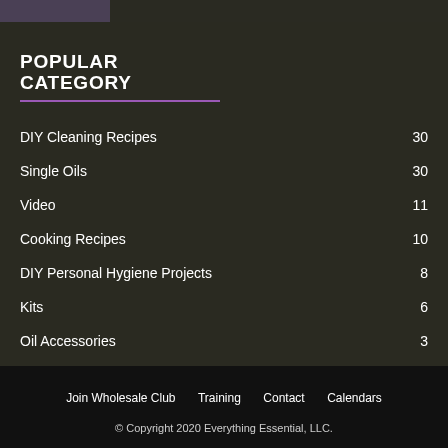[Figure (photo): Partial top image strip showing a dark purple/blue product photo]
POPULAR CATEGORY
DIY Cleaning Recipes 30
Single Oils 30
Video 11
Cooking Recipes 10
DIY Personal Hygiene Projects 8
Kits 6
Oil Accessories 3
Join Wholesale Club   Training   Contact   Calendars
© Copyright 2020 Everything Essential, LLC.